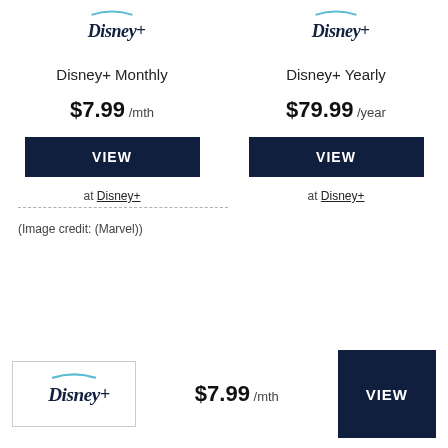[Figure (logo): Disney+ logo (left column)]
Disney+ Monthly
$7.99 /mth
VIEW
at Disney+
[Figure (logo): Disney+ logo (right column)]
Disney+ Yearly
$79.99 /year
VIEW
at Disney+
(Image credit: (Marvel))
[Figure (logo): Disney+ logo in bottom bar]
$7.99 /mth
VIEW